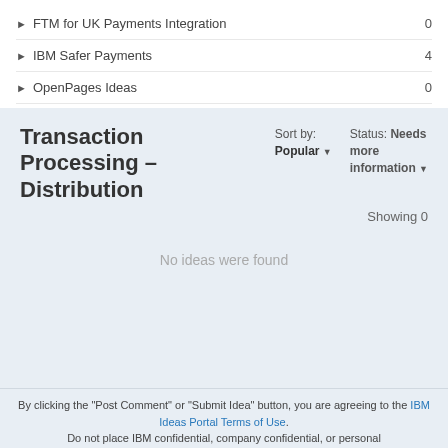▶ FTM for UK Payments Integration   0
▶ IBM Safer Payments   4
▶ OpenPages Ideas   0
Transaction Processing – Distribution
Sort by: Popular ▾
Status: Needs more information ▾
Showing 0
No ideas were found
By clicking the "Post Comment" or "Submit Idea" button, you are agreeing to the IBM Ideas Portal Terms of Use. Do not place IBM confidential, company confidential, or personal information into any field.